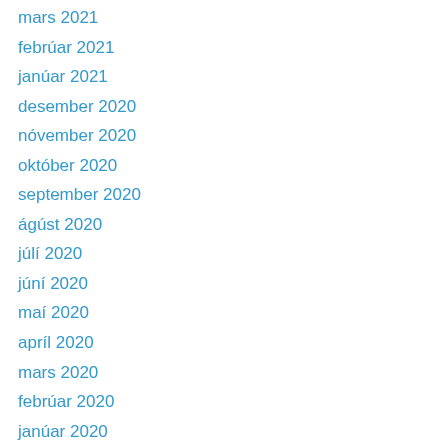mars 2021
febrúar 2021
janúar 2021
desember 2020
nóvember 2020
október 2020
september 2020
ágúst 2020
júlí 2020
júní 2020
maí 2020
apríl 2020
mars 2020
febrúar 2020
janúar 2020
desember 2019
nóvember 2019
október 2019
september 2019
ágúst 2019